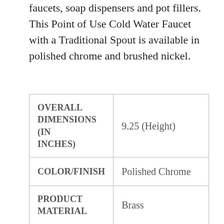faucets, soap dispensers and pot fillers. This Point of Use Cold Water Faucet with a Traditional Spout is available in polished chrome and brushed nickel.
| OVERALL DIMENSIONS (IN INCHES) | 9.25 (Height) |
| --- | --- |
| COLOR/FINISH | Polished Chrome |
| PRODUCT MATERIAL | Brass |
|  | • Fits counter |